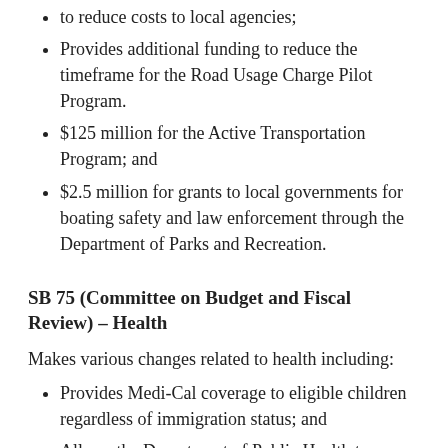to reduce costs to local agencies;
Provides additional funding to reduce the timeframe for the Road Usage Charge Pilot Program.
$125 million for the Active Transportation Program; and
$2.5 million for grants to local governments for boating safety and law enforcement through the Department of Parks and Recreation.
SB 75 (Committee on Budget and Fiscal Review) – Health
Makes various changes related to health including:
Provides Medi-Cal coverage to eligible children regardless of immigration status; and
Allows the Department of Public Health to purchase syringes and related supplies for syringe exchange programs.